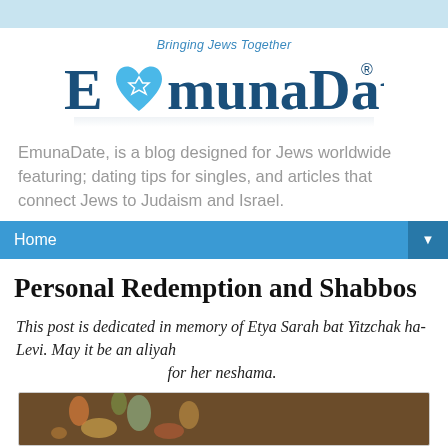[Figure (logo): EmunaDate logo with heart icon containing Star of David, tagline 'Bringing Jews Together']
EmunaDate, is a blog designed for Jews worldwide featuring; dating tips for singles, and articles that connect Jews to Judaism and Israel.
Home
Personal Redemption and Shabbos
This post is dedicated in memory of Etya Sarah bat Yitzchak ha-Levi. May it be an aliyah for her neshama.
[Figure (photo): Partial image of flowers/floral painting at bottom of page]